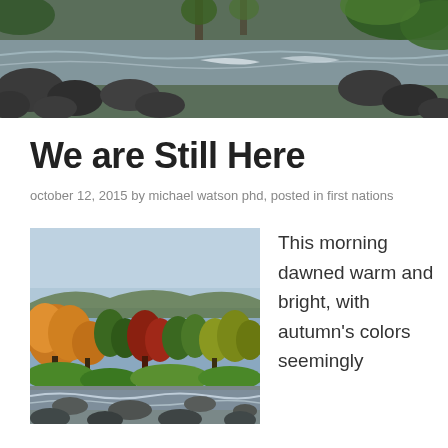[Figure (photo): Header photo of a rushing river with dark rocks and green foliage along the banks]
We are Still Here
october 12, 2015 by michael watson phd, posted in first nations
[Figure (photo): Autumn forest scene with colorful fall trees (orange, red, green) lining a rocky stream]
This morning dawned warm and bright, with autumn's colors seemingly